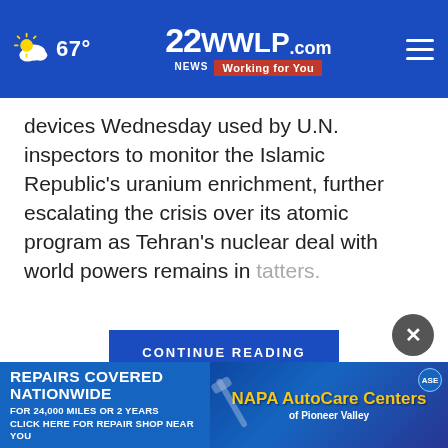67° | 22WWLP.com Working for You
devices Wednesday used by U.N. inspectors to monitor the Islamic Republic's uranium enrichment, further escalating the crisis over its atomic program as Tehran's nuclear deal with world powers remains in tatters.
CONTINUE READING
The move ann... technique
[Figure (screenshot): Advertisement banner for NAPA AutoCare Centers of Pioneer Valley. Text: REPAIRS COVERED NATIONWIDE FOR 24,000 MILES OR 2 YEARS CLICK HERE FOR REPAIR SHOP NEAR YOU]